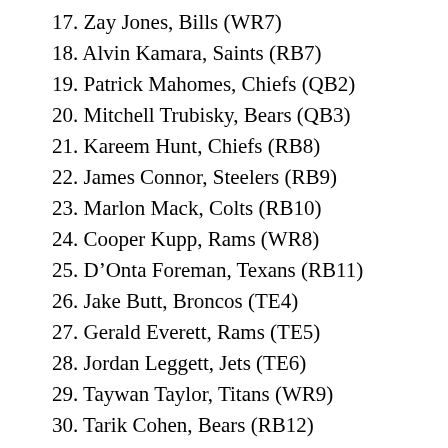17. Zay Jones, Bills (WR7)
18. Alvin Kamara, Saints (RB7)
19. Patrick Mahomes, Chiefs (QB2)
20. Mitchell Trubisky, Bears (QB3)
21. Kareem Hunt, Chiefs (RB8)
22. James Connor, Steelers (RB9)
23. Marlon Mack, Colts (RB10)
24. Cooper Kupp, Rams (WR8)
25. D’Onta Foreman, Texans (RB11)
26. Jake Butt, Broncos (TE4)
27. Gerald Everett, Rams (TE5)
28. Jordan Leggett, Jets (TE6)
29. Taywan Taylor, Titans (WR9)
30. Tarik Cohen, Bears (RB12)